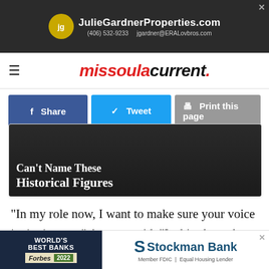[Figure (other): JulieGardnerProperties.com advertisement banner with agent photo, gold JG logo, phone number (406) 532-9233, and email jgardner@ERALovbros.com]
missoula current.
[Figure (other): Social sharing buttons: Facebook Share (blue), Twitter Tweet (light blue), Print this page (grey)]
[Figure (other): Hero image card with dark background showing text: Can't Name These Historical Figures, with gold bar at bottom]
“In my role now, I want to make sure your voice is ringing out,” Arntzen said. “Is this about the mask? Is this about a vaccine? Could be. But what’s coming down the pike after that? Parents, if you don’t stand up for your children and talk
[Figure (other): Stockman Bank and Forbes World's Best Banks 2022 advertisement banner at bottom of page]